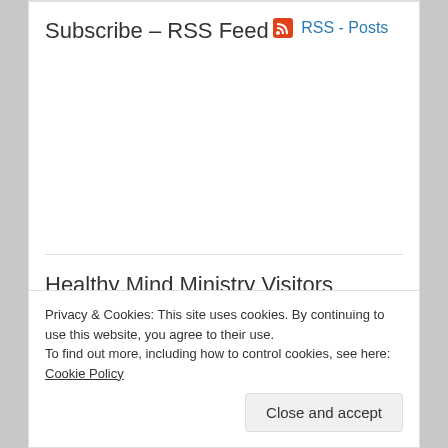Subscribe – RSS Feed
RSS - Posts
Healthy Mind Ministry Visitors
[Figure (photo): Row of six visitor avatar photos/thumbnails]
Privacy & Cookies: This site uses cookies. By continuing to use this website, you agree to their use.
To find out more, including how to control cookies, see here: Cookie Policy
Close and accept